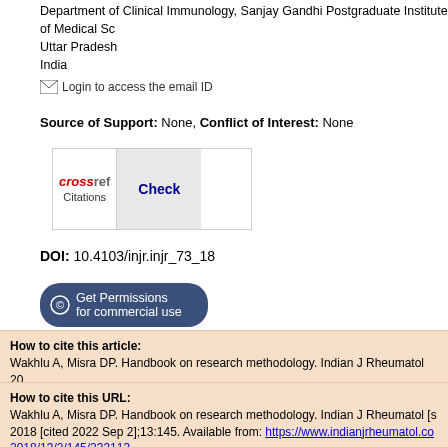Department of Clinical Immunology, Sanjay Gandhi Postgraduate Institute of Medical Sciences, Uttar Pradesh
India
Login to access the email ID
Source of Support: None, Conflict of Interest: None
[Figure (logo): CrossRef Citations Check button logo]
DOI: 10.4103/injr.injr_73_18
Get Permissions for commercial use
How to cite this article:
Wakhlu A, Misra DP. Handbook on research methodology. Indian J Rheumatol 2018;13:145
How to cite this URL:
Wakhlu A, Misra DP. Handbook on research methodology. Indian J Rheumatol [serial online] 2018 [cited 2022 Sep 2];13:145. Available from: https://www.indianjrheumatol.com/text.asp?2018/13/2/145/233113